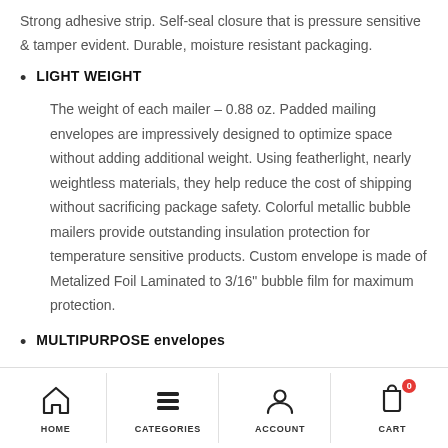Strong adhesive strip. Self-seal closure that is pressure sensitive & tamper evident. Durable, moisture resistant packaging.
LIGHT WEIGHT
The weight of each mailer – 0.88 oz. Padded mailing envelopes are impressively designed to optimize space without adding additional weight. Using featherlight, nearly weightless materials, they help reduce the cost of shipping without sacrificing package safety. Colorful metallic bubble mailers provide outstanding insulation protection for temperature sensitive products. Custom envelope is made of Metalized Foil Laminated to 3/16" bubble film for maximum protection.
MULTIPURPOSE envelopes
HOME   CATEGORIES   ACCOUNT   CART